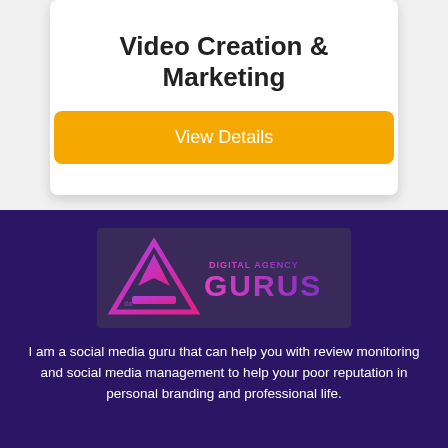Video Creation & Marketing
View Details
[Figure (logo): Digital Agency Gurus logo with purple/magenta triangle and stylized 'da' icon on dark background, with text 'DIGITAL AGENCY GURUS' in gradient magenta-purple lettering]
I am a social media guru that can help you with review monitoring and social media management to help your poor reputation in personal branding and professional life.